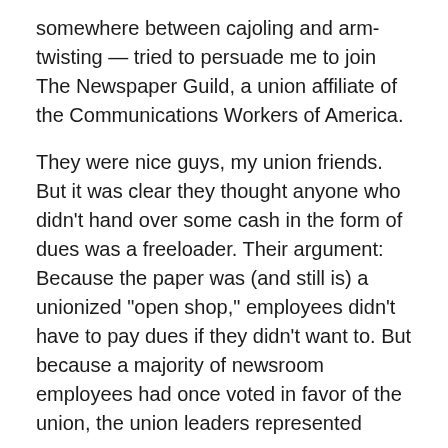somewhere between cajoling and arm-twisting — tried to persuade me to join The Newspaper Guild, a union affiliate of the Communications Workers of America.
They were nice guys, my union friends. But it was clear they thought anyone who didn't hand over some cash in the form of dues was a freeloader. Their argument: Because the paper was (and still is) a unionized "open shop," employees didn't have to pay dues if they didn't want to. But because a majority of newsroom employees had once voted in favor of the union, the union leaders represented everyone.
Even if you don't pay the union, you'll still be part of the "bargaining unit," the union leaders would argue. You'll still "benefit" from the collective bargaining process. So pony up.
I declined for a variety of reasons. The union, I concluded, wasn't boosting my pay. It was holding it down by repeatedly asking the company to spend